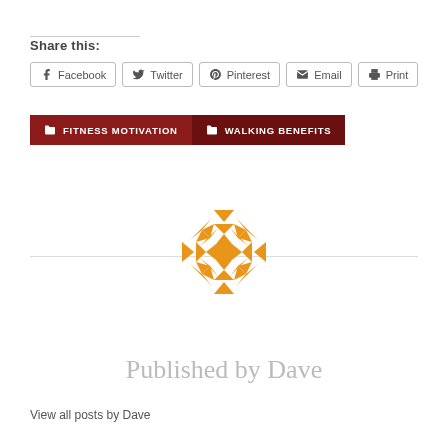Share this:
Facebook | Twitter | Pinterest | Email | Print
FITNESS MOTIVATION
WALKING BENEFITS
[Figure (logo): Orange geometric quilt-pattern logo made of triangles and star shapes arranged in a circular/octagonal form]
Published by Dave
View all posts by Dave